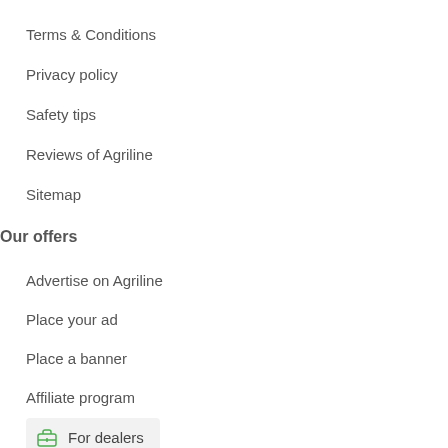Terms & Conditions
Privacy policy
Safety tips
Reviews of Agriline
Sitemap
Our offers
Advertise on Agriline
Place your ad
Place a banner
Affiliate program
For dealers